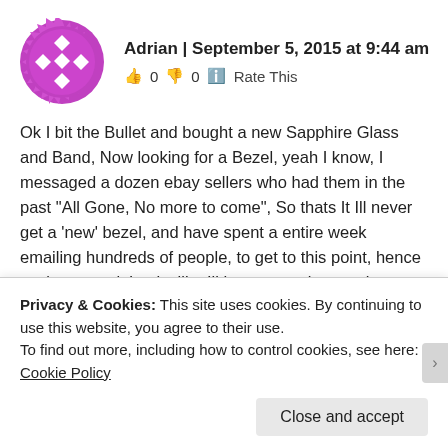[Figure (logo): Purple circular avatar with white diamond/cross pattern icon and spiky purple border]
Adrian | September 5, 2015 at 9:44 am
👍 0 👎 0 ℹ️ Rate This
Ok I bit the Bullet and bought a new Sapphire Glass and Band, Now looking for a Bezel, yeah I know, I messaged a dozen ebay sellers who had them in the past "All Gone, No more to come", So thats It Ill never get a 'new' bezel, and have spent a entire week emailing hundreds of people, to get to this point, hence my 'concerns', Looks like Ill have new glass and new band and no Bezel, Yep I know I need to look at buying another one and using that bezel, But there is none on ebay, well None that I could ever afford!. So yep Just looking
Privacy & Cookies: This site uses cookies. By continuing to use this website, you agree to their use.
To find out more, including how to control cookies, see here: Cookie Policy
Close and accept